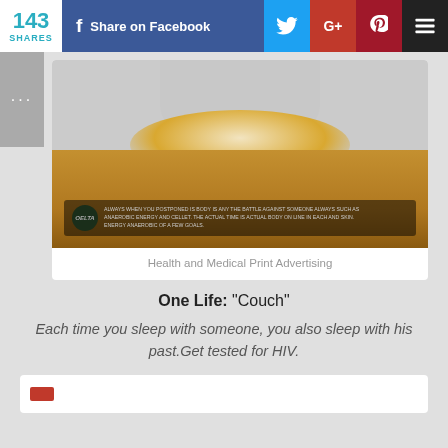143 SHARES | Share on Facebook
[Figure (photo): Health and Medical Print Advertising image showing a mushroom cloud explosion with a badge overlay]
Health and Medical Print Advertising
One Life: "Couch"
Each time you sleep with someone, you also sleep with his past.Get tested for HIV.